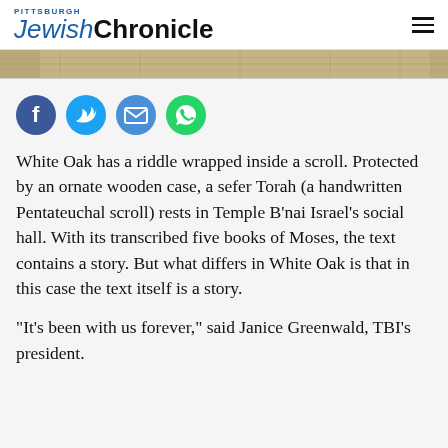Pittsburgh Jewish Chronicle
[Figure (photo): Partial image of a scroll or document strip at the top of the article]
[Figure (infographic): Social sharing icons: Facebook, Twitter, Email, WhatsApp]
White Oak has a riddle wrapped inside a scroll. Protected by an ornate wooden case, a sefer Torah (a handwritten Pentateuchal scroll) rests in Temple B’nai Israel’s social hall. With its transcribed five books of Moses, the text contains a story. But what differs in White Oak is that in this case the text itself is a story.
“It’s been with us forever,” said Janice Greenwald, TBI’s president.